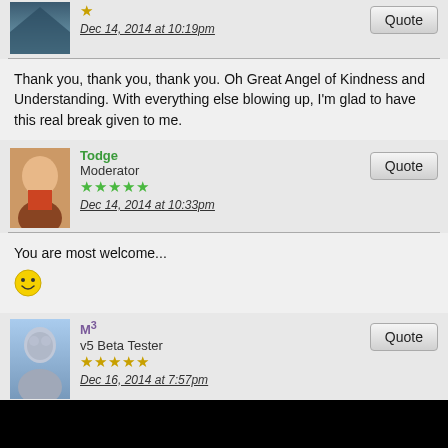[Figure (photo): User avatar - top portion visible, dark image]
Dec 14, 2014 at 10:19pm
Quote
Thank you, thank you, thank you. Oh Great Angel of Kindness and Understanding. With everything else blowing up, I'm glad to have this real break given to me.
Todge
Moderator
★★★★★
Dec 14, 2014 at 10:33pm
Quote
You are most welcome...
[Figure (illustration): Smiley face emoji]
M³
v5 Beta Tester
★★★★★
Dec 16, 2014 at 7:57pm
Quote
Hey Todge, love the plugin! With the image below in mind, there's a couple of questions … 1) How can I adjust the width where the 2 arrows are